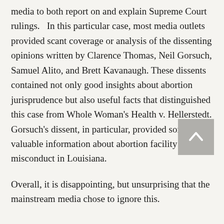media to both report on and explain Supreme Court rulings.   In this particular case, most media outlets provided scant coverage or analysis of the dissenting opinions written by Clarence Thomas, Neil Gorsuch, Samuel Alito, and Brett Kavanaugh. These dissents contained not only good insights about abortion jurisprudence but also useful facts that distinguished this case from Whole Woman's Health v. Hellerstedt. Gorsuch's dissent, in particular, provided some very valuable information about abortion facility misconduct in Louisiana.
Overall, it is disappointing, but unsurprising that the mainstream media chose to ignore this.